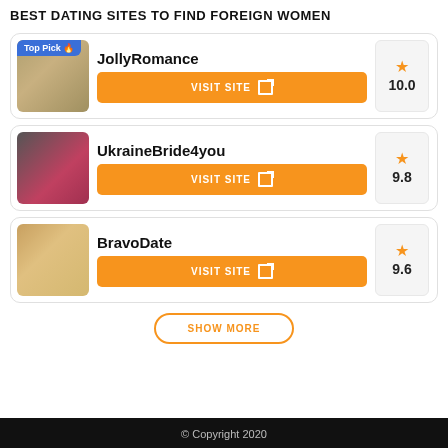BEST DATING SITES TO FIND FOREIGN WOMEN
JollyRomance — Top Pick — Score: 10.0
UkraineBride4you — Score: 9.8
BravoDate — Score: 9.6
SHOW MORE
© Copyright 2020